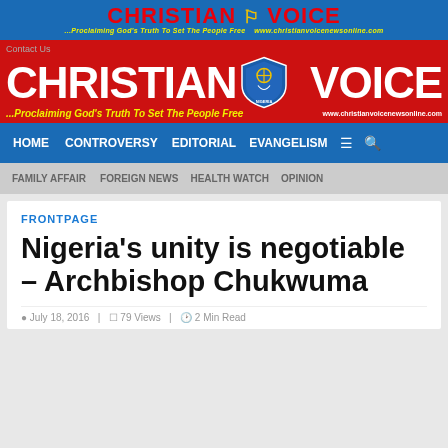CHRISTIAN VOICE
[Figure (logo): Christian Voice newspaper banner logo with red text, shield emblem, tagline '...Proclaiming God's Truth To Set The People Free' and website www.christianvoicenewsonline.com]
HOME  CONTROVERSY  EDITORIAL  EVANGELISM
FAMILY AFFAIR  FOREIGN NEWS  HEALTH WATCH  OPINION
FRONTPAGE
Nigeria's unity is negotiable – Archbishop Chukwuma
July 18, 2016  |  79 Views  |  2 Min Read